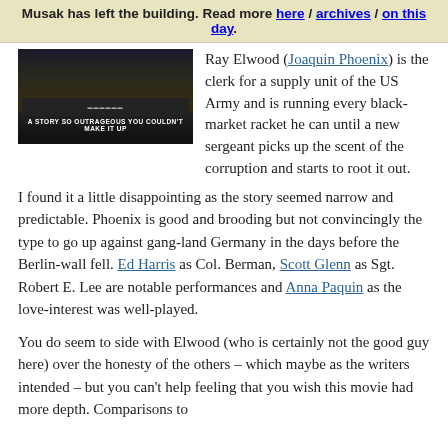Musak has left the building. Read more here / archives / on this day.
[Figure (photo): Movie poster or still image with dark background and tagline 'A STORY SO OUTRAGEOUS YOU COULDN'T MAKE IT UP']
Ray Elwood (Joaquin Phoenix) is the clerk for a supply unit of the US Army and is running every black-market racket he can until a new sergeant picks up the scent of the corruption and starts to root it out.
I found it a little disappointing as the story seemed narrow and predictable. Phoenix is good and brooding but not convincingly the type to go up against gang-land Germany in the days before the Berlin-wall fell. Ed Harris as Col. Berman, Scott Glenn as Sgt. Robert E. Lee are notable performances and Anna Paquin as the love-interest was well-played.
You do seem to side with Elwood (who is certainly not the good guy here) over the honesty of the others – which maybe as the writers intended – but you can't help feeling that you wish this movie had more depth. Comparisons to